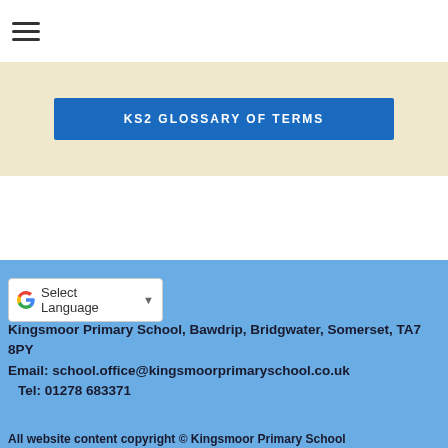[Figure (logo): Kingsmoor Primary School logo banner with kingfisher bird and white text on blue gradient background]
KS2 GLOSSARY OF TERMS
[Figure (screenshot): Google Translate Select Language dropdown widget]
Kingsmoor Primary School, Bawdrip, Bridgwater, Somerset, TA7 8PY
Email: school.office@kingsmoorprimaryschool.co.uk
Tel: 01278 683371
All website content copyright © Kingsmoor Primary School